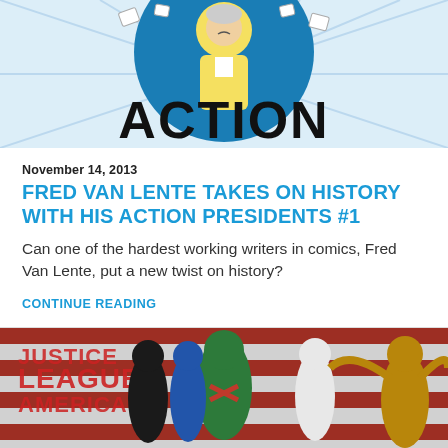[Figure (illustration): Comic book cover art for Action Presidents #1 showing a cartoon figure in a yellow suit with papers flying around, large black text 'ACTION' visible, blue circular background, on a light cream/blue background with motion lines]
November 14, 2013
FRED VAN LENTE TAKES ON HISTORY WITH HIS ACTION PRESIDENTS #1
Can one of the hardest working writers in comics, Fred Van Lente, put a new twist on history?
CONTINUE READING
[Figure (illustration): Comic book cover art for Justice League of America showing multiple superhero characters including Martian Manhunter in green, Catwoman in black, a female character in white, Hawkman on the right, and others, in front of a red and white American flag-style background with 'JUSTICE LEAGUE of AMERICA' text]